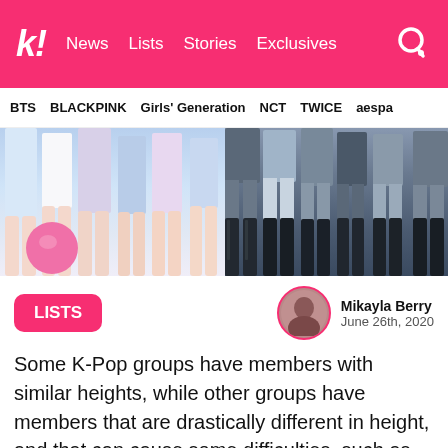k! News Lists Stories Exclusives
BTS BLACKPINK Girls' Generation NCT TWICE aespa
[Figure (photo): Two side-by-side photos of K-Pop group members' legs. Left image shows legs in pastel-colored outfits with a pink balloon, right image shows legs in dark outfits with tall dark boots.]
LISTS
Mikayla Berry
June 26th, 2020
Some K-Pop groups have members with similar heights, while other groups have members that are drastically different in height, and that can cause some difficulties, such as making sure dances are synced up well! There's a wide range of small and big differences in heights